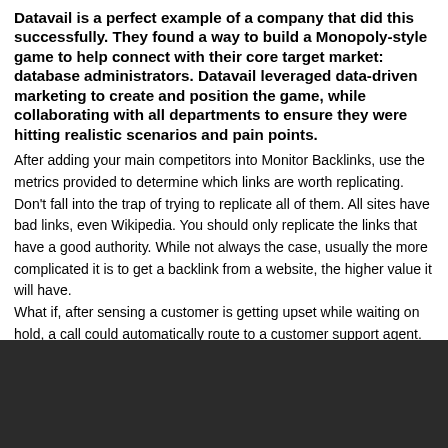Datavail is a perfect example of a company that did this successfully. They found a way to build a Monopoly-style game to help connect with their core target market: database administrators. Datavail leveraged data-driven marketing to create and position the game, while collaborating with all departments to ensure they were hitting realistic scenarios and pain points.
After adding your main competitors into Monitor Backlinks, use the metrics provided to determine which links are worth replicating. Don't fall into the trap of trying to replicate all of them. All sites have bad links, even Wikipedia. You should only replicate the links that have a good authority. While not always the case, usually the more complicated it is to get a backlink from a website, the higher value it will have.
What if, after sensing a customer is getting upset while waiting on hold, a call could automatically route to a customer support agent. What if there were a technology that could listen in on sales calls to determine if a client was going to purchase or not? What if by looking at video footage, you could make some assumptions about the leadership of a competitor?
[Figure (other): Dark background block at bottom of page]